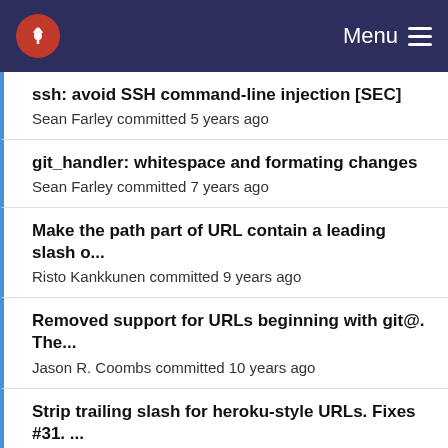Menu
ssh: avoid SSH command-line injection [SEC]
Sean Farley committed 5 years ago
git_handler: whitespace and formating changes
Sean Farley committed 7 years ago
Make the path part of URL contain a leading slash o...
Risto Kankkunen committed 9 years ago
Removed support for URLs beginning with git@. The...
Jason R. Coombs committed 10 years ago
Strip trailing slash for heroku-style URLs. Fixes #31. ...
Jason R. Coombs committed 10 years ago
Removed support for URLs beginning with git@. The...
Jason R. Coombs committed 10 years ago
Handle normal relative SSH paths (i.e for heroku and...